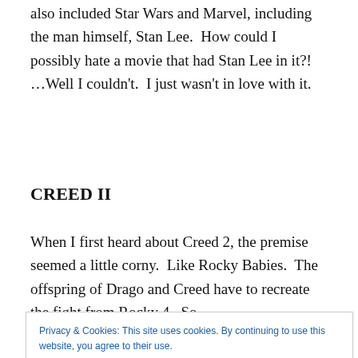also included Star Wars and Marvel, including the man himself, Stan Lee.  How could I possibly hate a movie that had Stan Lee in it?!  …Well I couldn't.  I just wasn't in love with it.
CREED II
When I first heard about Creed 2, the premise seemed a little corny.  Like Rocky Babies.  The offspring of Drago and Creed have to recreate the fight from Rocky 4.  So
Privacy & Cookies: This site uses cookies. By continuing to use this website, you agree to their use.
To find out more, including how to control cookies, see here: Cookie Policy
Close and accept
encounter happens just before the halfway point of the film